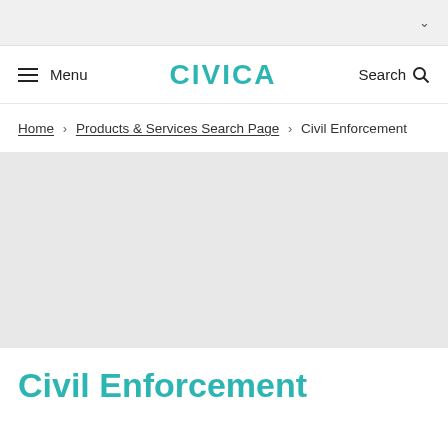▾
≡ Menu   CIVICA   Search 🔍
Home > Products & Services Search Page > Civil Enforcement
[Figure (other): Gray hero image placeholder area]
Civil Enforcement